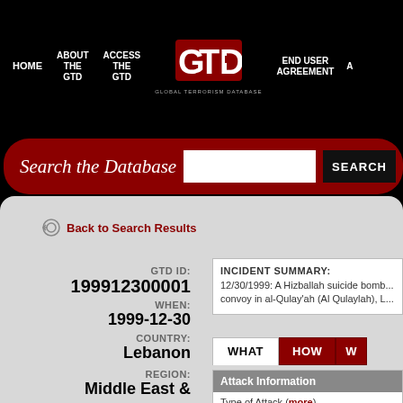HOME | ABOUT THE GTD | ACCESS THE GTD | GTD (Global Terrorism Database) | END USER AGREEMENT
Search the Database
Back to Search Results
GTD ID: 199912300001
WHEN: 1999-12-30
COUNTRY: Lebanon
REGION: Middle East &
INCIDENT SUMMARY: 12/30/1999: A Hizballah suicide bomb... convoy in al-Qulay'ah (Al Qulaylah), L...
WHAT | HOW | W
Attack Information
Type of Attack (more)